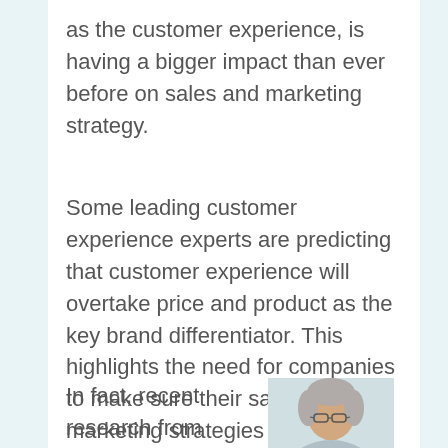as the customer experience, is having a bigger impact than ever before on sales and marketing strategy.
Some leading customer experience experts are predicting that customer experience will overtake price and product as the key brand differentiator. This highlights the need for companies to make sure their sales and marketing strategies are adapting to today's realities, or they will miss losing customers to more savvy competitors.
In fact, recent research from West Unified
[Figure (photo): Headshot of a person with grey/white hair and glasses]